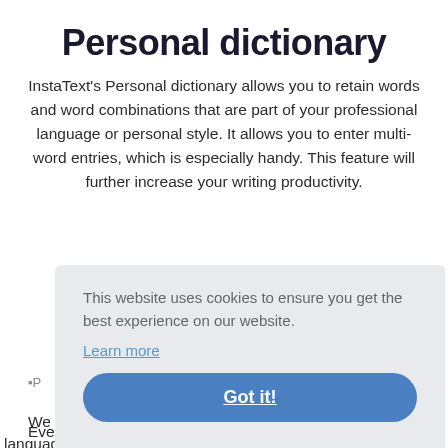Personal dictionary
InstaText's Personal dictionary allows you to retain words and word combinations that are part of your professional language or personal style. It allows you to enter multi-word entries, which is especially handy. This feature will further increase your writing productivity.
[Figure (screenshot): Cookie consent overlay with gray background, text 'This website uses cookies to ensure you get the best experience on our website.', a 'Learn more' link, and a blue rounded 'Got it!' button. A broken image icon labeled P is visible behind the overlay. Partial text beginning with 'Eve', 'leas', 'con', 'We', and 'language or personal style. We want to keep them and' is visible behind the overlay.]